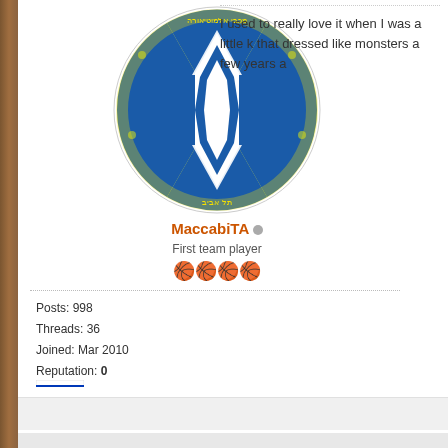[Figure (logo): Maccabi Tel Aviv basketball club logo - circular emblem with Star of David in blue on yellow/green background with Hebrew text]
MaccabiTA
First team player
🏀🏀🏀🏀
Posts: 998
Threads: 36
Joined: Mar 2010
Reputation: 0
Supports: Maccabi TA
[Figure (illustration): Israeli flag]
I used to really love it when I was a little k... that dressed like monsters a few years a...